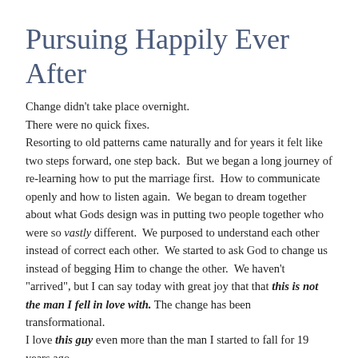Pursuing Happily Ever After
Change didn't take place overnight.
There were no quick fixes.
Resorting to old patterns came naturally and for years it felt like two steps forward, one step back.  But we began a long journey of re-learning how to put the marriage first.  How to communicate openly and how to listen again.  We began to dream together about what Gods design was in putting two people together who were so vastly different.  We purposed to understand each other instead of correct each other.  We started to ask God to change us instead of begging Him to change the other.  We haven't "arrived", but I can say today with great joy that that this is not the man I fell in love with. The change has been transformational.
I love this guy even more than the man I started to fall for 19 years ago.

Today as I launch Glittering Grace Magazine, Im humbled by the man God has given as my life partner.  A man who has sought God.